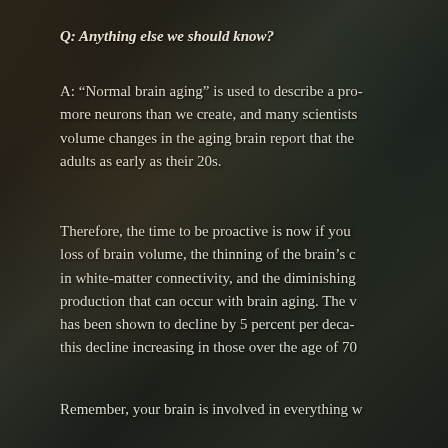Q: Anything else we should know?
A: “Normal brain aging” is used to describe a pro- more neurons than we create, and many scientists volume changes in the aging brain report that the adults as early as their 20s.
Therefore, the time to be proactive is now if you loss of brain volume, the thinning of the brain’s c in white-matter connectivity, and the diminishing production that can occur with brain aging. The v has been shown to decline by 5 percent per deca- this decline increasing in those over the age of 70
Remember, your brain is involved in everything w